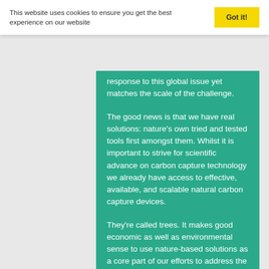This website uses cookies to ensure you get the best experience on our website
Got it!
response to this global issue yet matches the scale of the challenge.
The good news is that we have real solutions: nature's own tried and tested tools first amongst them. Whilst it is important to strive for scientific advance on carbon capture technology we already have access to effective, available, and scalable natural carbon capture devices.
They're called trees. It makes good economic as well as environmental sense to use nature-based solutions as a core part of our efforts to address the climate crisis. The Dasgupta Review into the economics of biodiversity will allow us to better understand biodiversity's global benefits.
A natural capital approach to decision-making is